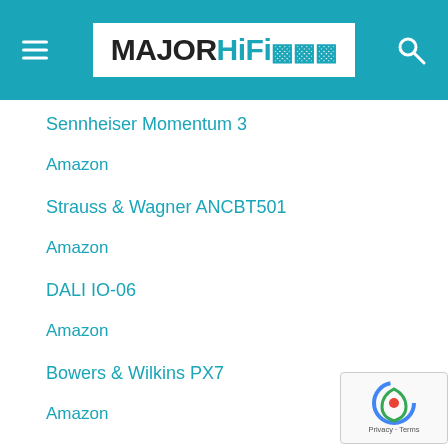MAJORHiFi
Sennheiser Momentum 3
Amazon
Strauss & Wagner ANCBT501
Amazon
DALI IO-06
Amazon
Bowers & Wilkins PX7
Amazon